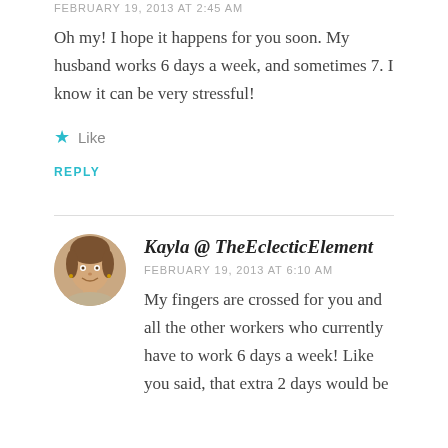FEBRUARY 19, 2013 AT 2:45 AM
Oh my! I hope it happens for you soon. My husband works 6 days a week, and sometimes 7. I know it can be very stressful!
★ Like
REPLY
Kayla @ TheEclecticElement
FEBRUARY 19, 2013 AT 6:10 AM
My fingers are crossed for you and all the other workers who currently have to work 6 days a week! Like you said, that extra 2 days would be